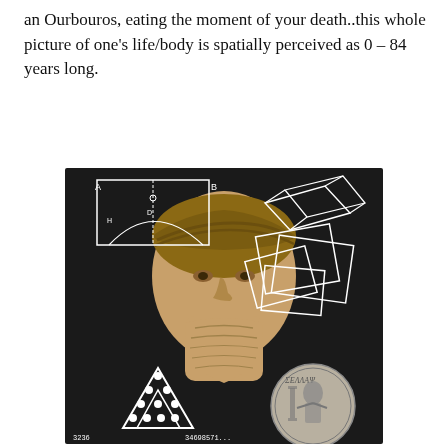an Ourbouros, eating the moment of your death..this whole picture of one's life/body is spatially perceived as 0 – 84 years long.
[Figure (illustration): A bust of Pythagoras overlaid with geometric diagrams (rectangles, a square subdivided, a 3D box outline) in white lines at the top. At the bottom left, two nested triangles with dot patterns (tetractys). At the bottom right, an ancient coin with a seated figure. Numbers partially visible at the bottom: 3236 ... 34698571...]